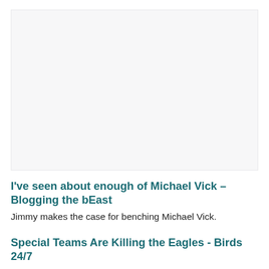[Figure (photo): Blank/white image placeholder area at the top of the page]
I've seen about enough of Michael Vick – Blogging the bEast
Jimmy makes the case for benching Michael Vick.
Special Teams Are Killing the Eagles - Birds 24/7
Five of the Eagles' six games so far have been